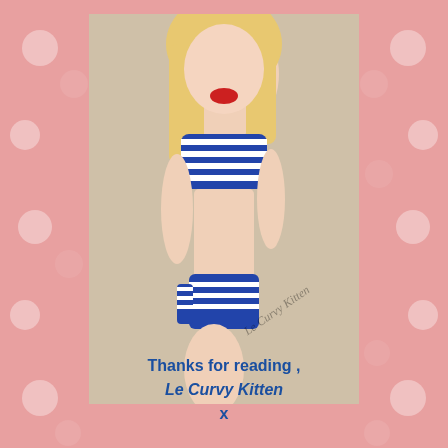[Figure (photo): A woman posing in a blue and white striped bikini against a light beige wall, with blonde hair and red lipstick, kneeling pose. Watermark reads 'Le Curvy Kitten'.]
Thanks for reading ,
Le Curvy Kitten
x